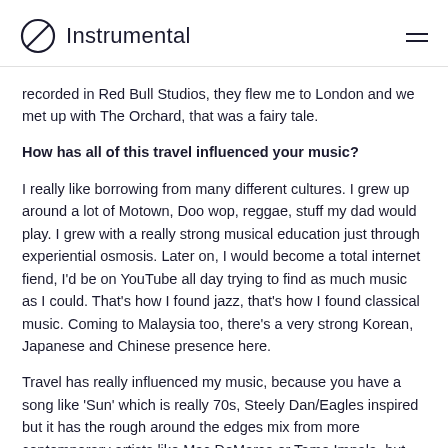Instrumental
recorded in Red Bull Studios, they flew me to London and we met up with The Orchard, that was a fairy tale.
How has all of this travel influenced your music?
I really like borrowing from many different cultures. I grew up around a lot of Motown, Doo wop, reggae, stuff my dad would play. I grew with a really strong musical education just through experiential osmosis. Later on, I would become a total internet fiend, I'd be on YouTube all day trying to find as much music as I could. That's how I found jazz, that's how I found classical music. Coming to Malaysia too, there's a very strong Korean, Japanese and Chinese presence here.
Travel has really influenced my music, because you have a song like 'Sun' which is really 70s, Steely Dan/Eagles inspired but it has the rough around the edges mix from more contemporary artists like Mac DeMarco or Tame Impala, but then Amar Jaan is something that's very Benghali; the chorus is in Bangla, my native language. But then I put synthesizers...